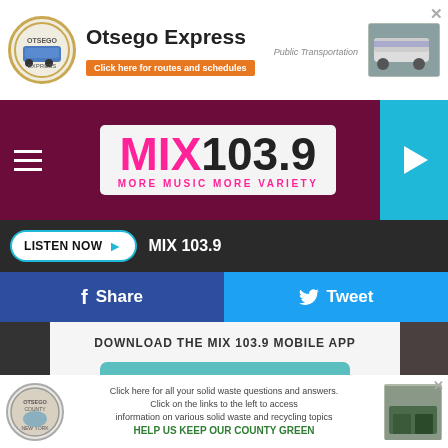[Figure (screenshot): Otsego Express public transportation ad banner with logo, text, button and bus image]
[Figure (logo): MIX 103.9 MORE MUSIC MORE VARIETY radio station logo on dark maroon header with hamburger menu and play button]
LISTEN NOW  MIX 103.9
f  Share
Tweet
DOWNLOAD THE MIX 103.9 MOBILE APP
GET OUR FREE MOBILE APP
Also listen on:  amazon alexa
[Figure (screenshot): Otsego County solid waste ad banner with logo, recycling text, and green slogan HELP US KEEP OUR COUNTY GREEN]